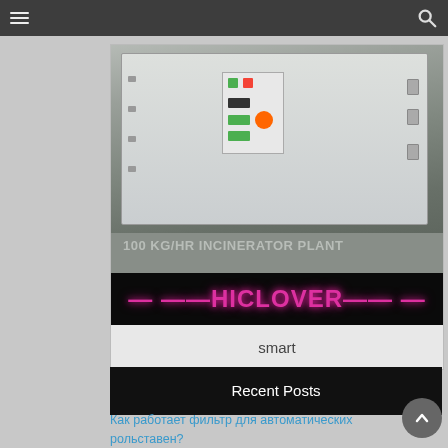Navigation bar with hamburger menu and search icon
[Figure (photo): White industrial incinerator plant (100 KG/HR INCINERATOR PLANT) with control panel, with HICLOVER branding banner at the bottom in pink/magenta neon text on black background]
smart
Recent Posts
Как работает фильтр для автоматических рольставен?
ภภภภภภภภภภภภ